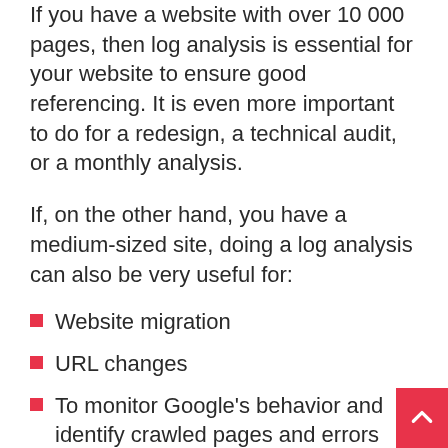If you have a website with over 10 000 pages, then log analysis is essential for your website to ensure good referencing. It is even more important to do for a redesign, a technical audit, or a monthly analysis.
If, on the other hand, you have a medium-sized site, doing a log analysis can also be very useful for:
Website migration
URL changes
To monitor Google's behavior and identify crawled pages and errors
Below you will find different types of websites with examples of how log analysis has been